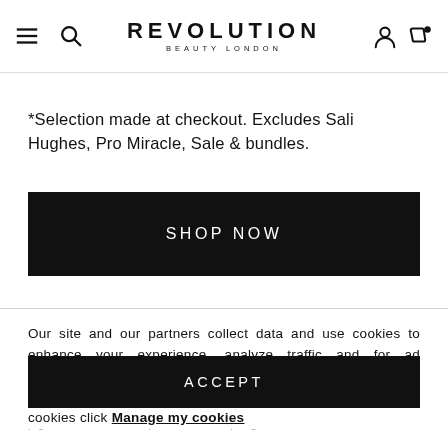REVOLUTION BEAUTY LONDON
*Selection made at checkout. Excludes Sali Hughes, Pro Miracle, Sale & bundles.
SHOP NOW
Our site and our partners collect data and use cookies to enhance your experience, analyze traffic and for ad personalization and measurement. One such partner is Google. For more information on this and how to manage your cookies click Manage my cookies
PRODUCT OVERVIEW
ACCEPT
pigmented bronzer is perfect for sculpting and